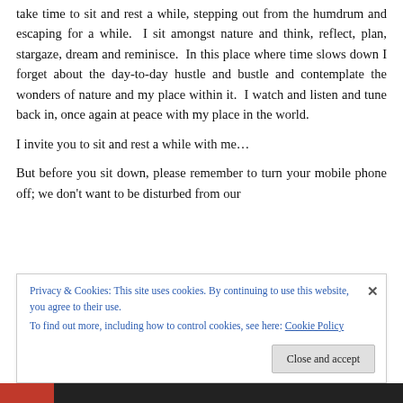take time to sit and rest a while, stepping out from the humdrum and escaping for a while. I sit amongst nature and think, reflect, plan, stargaze, dream and reminisce. In this place where time slows down I forget about the day-to-day hustle and bustle and contemplate the wonders of nature and my place within it. I watch and listen and tune back in, once again at peace with my place in the world.
I invite you to sit and rest a while with me…
But before you sit down, please remember to turn your mobile phone off; we don't want to be disturbed from our
Privacy & Cookies: This site uses cookies. By continuing to use this website, you agree to their use.
To find out more, including how to control cookies, see here: Cookie Policy
Close and accept